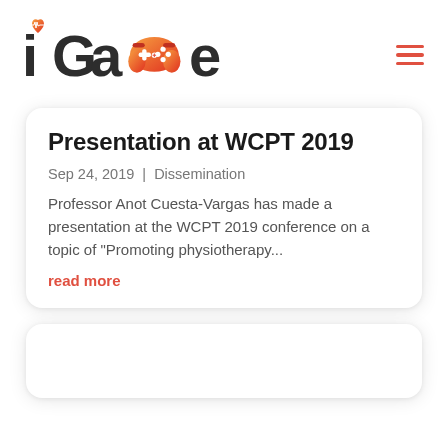[Figure (logo): iGame logo with stylized text and game controller icon in orange/red gradient]
Presentation at WCPT 2019
Sep 24, 2019 | Dissemination
Professor Anot Cuesta-Vargas has made a presentation at the WCPT 2019 conference on a topic of "Promoting physiotherapy...
read more